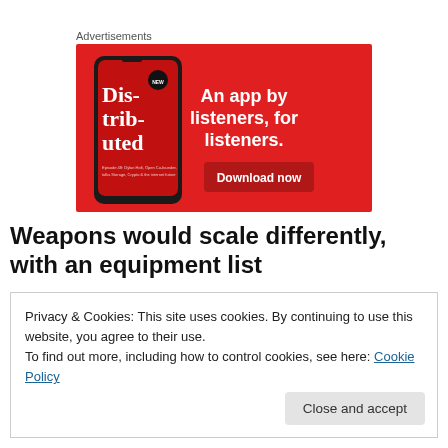Advertisements
[Figure (illustration): Red advertisement banner for a podcast app showing a smartphone with 'Dis-trib-uted' text on screen, with headline 'An app by listeners, for listeners.' and a 'Download now' button.]
Weapons would scale differently, with an equipment list
Privacy & Cookies: This site uses cookies. By continuing to use this website, you agree to their use.
To find out more, including how to control cookies, see here: Cookie Policy
Close and accept